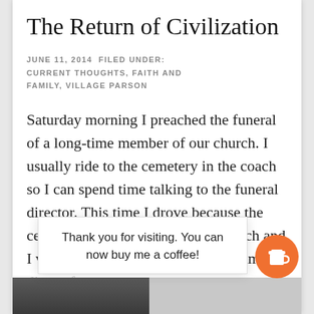The Return of Civilization
JUNE 11, 2014 FILED UNDER: CURRENT THOUGHTS, FAITH AND FAMILY, VILLAGE PARSON
Saturday morning I preached the funeral of a long-time member of our church. I usually ride to the cemetery in the coach so I can spend time talking to the funeral director. This time I drove because the cemetery was just south of the church and I would be returning there for the famil[y dinner/lunch...]
Thank you for visiting. You can now buy me a coffee!
[Figure (photo): Photo of a person at the bottom of the page, partially visible]